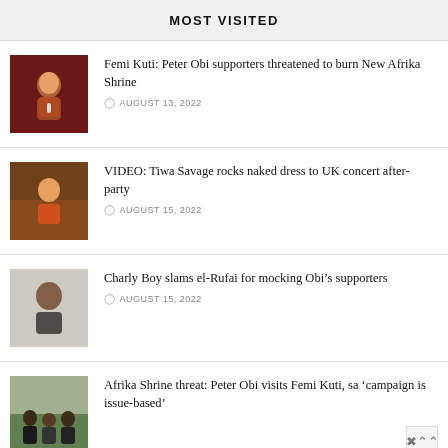MOST VISITED
Femi Kuti: Peter Obi supporters threatened to burn New Afrika Shrine
AUGUST 13, 2022
VIDEO: Tiwa Savage rocks naked dress to UK concert after-party
AUGUST 15, 2022
Charly Boy slams el-Rufai for mocking Obi's supporters
AUGUST 15, 2022
Afrika Shrine threat: Peter Obi visits Femi Kuti, sa 'campaign is issue-based'